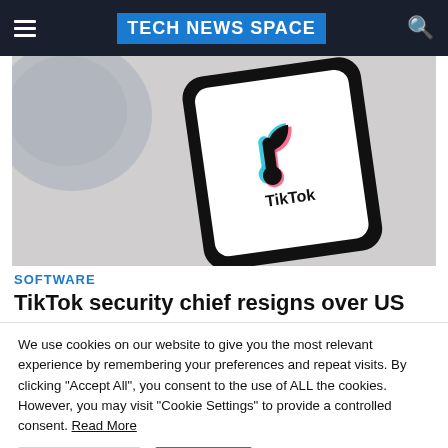TECH NEWS SPACE
[Figure (photo): Close-up of a smartphone displaying the TikTok logo and wordmark on a white/grey background]
SOFTWARE
TikTok security chief resigns over US
We use cookies on our website to give you the most relevant experience by remembering your preferences and repeat visits. By clicking "Accept All", you consent to the use of ALL the cookies. However, you may visit "Cookie Settings" to provide a controlled consent. Read More